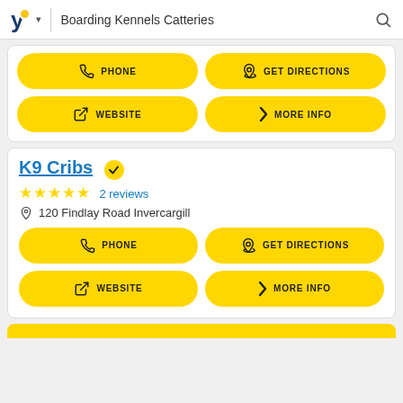Boarding Kennels Catteries
[Figure (screenshot): Yellow action buttons: PHONE, GET DIRECTIONS, WEBSITE, MORE INFO from a previous listing card (top of page, partially visible)]
K9 Cribs
★★★★★ 2 reviews
120 Findlay Road Invercargill
[Figure (screenshot): Yellow action buttons: PHONE, GET DIRECTIONS, WEBSITE, MORE INFO for K9 Cribs listing]
[Figure (screenshot): Partial yellow card visible at bottom of page]